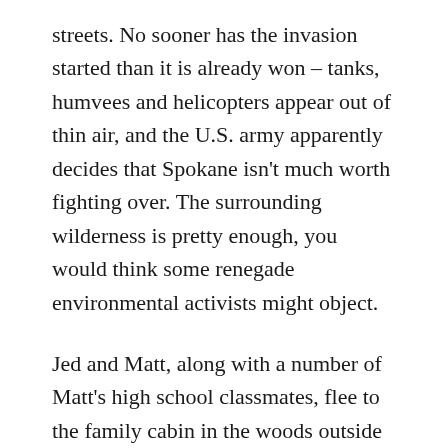streets. No sooner has the invasion started than it is already won – tanks, humvees and helicopters appear out of thin air, and the U.S. army apparently decides that Spokane isn't much worth fighting over. The surrounding wilderness is pretty enough, you would think some renegade environmental activists might object.
Jed and Matt, along with a number of Matt's high school classmates, flee to the family cabin in the woods outside town. There, Jed quickly trains this ragtag group of kids into a tight-knit resistance group, and before we're even half an hour into the film, the Wolverines (named after their football team mascot) are waging all-out guerilla warfare on their occupiers.